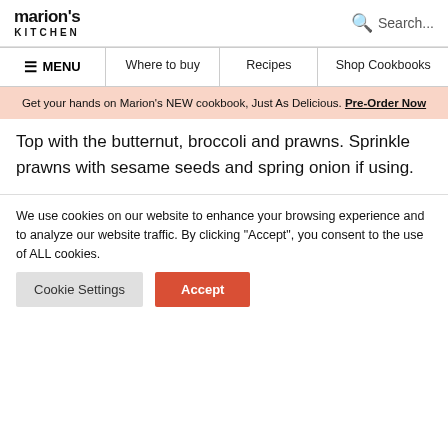marion's KITCHEN
Search...
≡ MENU | Where to buy | Recipes | Shop Cookbooks
Get your hands on Marion's NEW cookbook, Just As Delicious. Pre-Order Now
Top with the butternut, broccoli and prawns. Sprinkle prawns with sesame seeds and spring onion if using.
We use cookies on our website to enhance your browsing experience and to analyze our website traffic. By clicking "Accept", you consent to the use of ALL cookies.
Cookie Settings  Accept